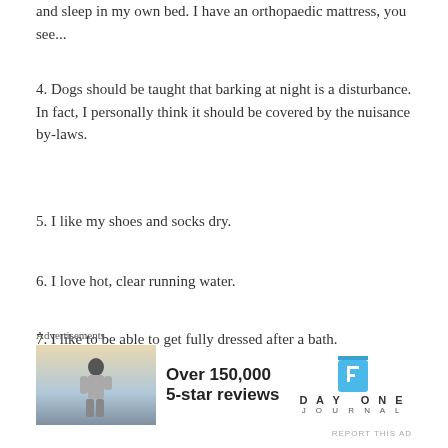and sleep in my own bed. I have an orthopaedic mattress, you see...
4. Dogs should be taught that barking at night is a disturbance. In fact, I personally think it should be covered by the nuisance by-laws.
5. I like my shoes and socks dry.
6. I love hot, clear running water.
7. I like to be able to get fully dressed after a bath.
[Figure (other): Advertisement banner with DayOne Journal app promotion showing person on hilltop, text 'Over 150,000 5-star reviews']